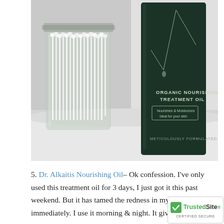[Figure (photo): Photo of a glass jar filled with cotton swabs next to a dark green bottle labeled 'Organic Nourishing Treatment Oil – Nourishes & Moisturizes, Ideal for your skin – Meticulously Formulated', on a white surface with a white textured background.]
5. Dr. Alkaitis Nourishing Oil– Ok confession. I've only used this treatment oil for 3 days, I just got it this past weekend. But it has tamed the redness in my ski immediately. I use it morning & night. It gives m